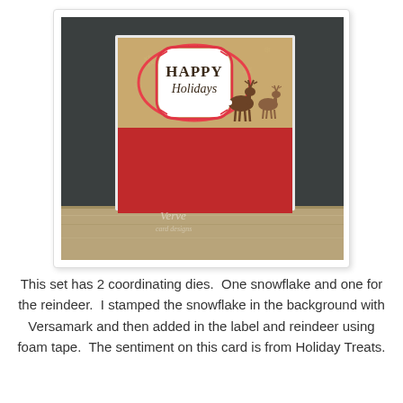[Figure (photo): A holiday greeting card with 'Happy Holidays' sentiment in a decorative red label frame on a kraft paper background, with reindeer die-cut silhouettes on the right side. The bottom half of the card is solid red. The card is photographed against a dark chalkboard background on a wooden surface. A watermark 'Verve' is visible in the lower left of the image.]
This set has 2 coordinating dies.  One snowflake and one for the reindeer.  I stamped the snowflake in the background with Versamark and then added in the label and reindeer using foam tape.  The sentiment on this card is from Holiday Treats.